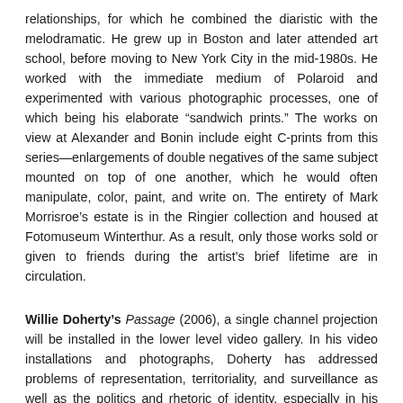relationships, for which he combined the diaristic with the melodramatic. He grew up in Boston and later attended art school, before moving to New York City in the mid-1980s. He worked with the immediate medium of Polaroid and experimented with various photographic processes, one of which being his elaborate “sandwich prints.” The works on view at Alexander and Bonin include eight C-prints from this series—enlargements of double negatives of the same subject mounted on top of one another, which he would often manipulate, color, paint, and write on. The entirety of Mark Morrisroe’s estate is in the Ringier collection and housed at Fotomuseum Winterthur. As a result, only those works sold or given to friends during the artist’s brief lifetime are in circulation.
Willie Doherty’s Passage (2006), a single channel projection will be installed in the lower level video gallery. In his video installations and photographs, Doherty has addressed problems of representation, territoriality, and surveillance as well as the politics and rhetoric of identity, especially in his native Northern Ireland. Shot at night in the waste ground